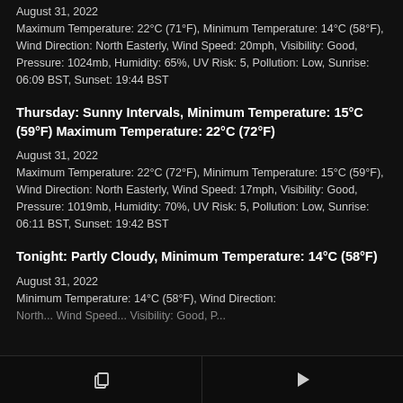August 31, 2022
Maximum Temperature: 22°C (71°F), Minimum Temperature: 14°C (58°F), Wind Direction: North Easterly, Wind Speed: 20mph, Visibility: Good, Pressure: 1024mb, Humidity: 65%, UV Risk: 5, Pollution: Low, Sunrise: 06:09 BST, Sunset: 19:44 BST
Thursday: Sunny Intervals, Minimum Temperature: 15°C (59°F) Maximum Temperature: 22°C (72°F)
August 31, 2022
Maximum Temperature: 22°C (72°F), Minimum Temperature: 15°C (59°F), Wind Direction: North Easterly, Wind Speed: 17mph, Visibility: Good, Pressure: 1019mb, Humidity: 70%, UV Risk: 5, Pollution: Low, Sunrise: 06:11 BST, Sunset: 19:42 BST
Tonight: Partly Cloudy, Minimum Temperature: 14°C (58°F)
August 31, 2022
Minimum Temperature: 14°C (58°F), Wind Direction: North...